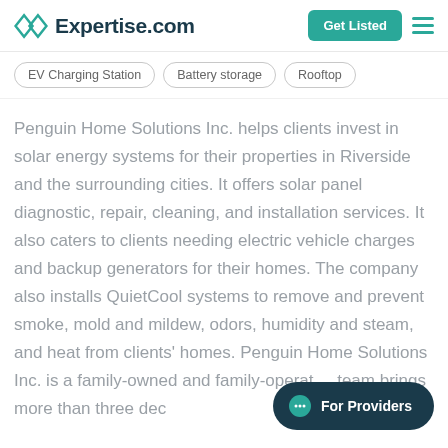Expertise.com
EV Charging Station
Battery storage
Rooftop
Penguin Home Solutions Inc. helps clients invest in solar energy systems for their properties in Riverside and the surrounding cities. It offers solar panel diagnostic, repair, cleaning, and installation services. It also caters to clients needing electric vehicle charges and backup generators for their homes. The company also installs QuietCool systems to remove and prevent smoke, mold and mildew, odors, humidity and steam, and heat from clients' homes. Penguin Home Solutions Inc. is a family-owned and family-operated team brings more than three dec…